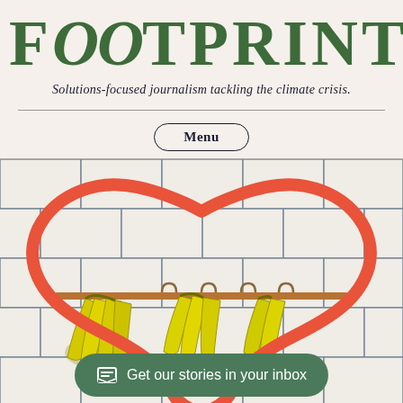FOOTPRINT
Solutions-focused journalism tackling the climate crisis.
Menu
[Figure (photo): Photo of bananas hanging from a copper rail on a white subway tile wall, framed inside a large red/orange heart shape outline]
Get our stories in your inbox